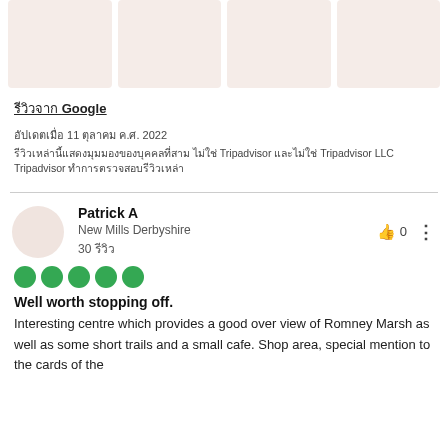[Figure (photo): Four pinkish-beige placeholder image boxes in a row]
รีวิวจาก Google
อัปเดตเมื่อ 11 ตุลาคม ค.ศ. 2022
รีวิวเหล่านี้แสดงมุมมองของบุคคลที่สาม ไม่ใช่ Tripadvisor และไม่ใช่ Tripadvisor LLC Tripadvisor ทำการตรวจสอบรีวิวเหล่า
Patrick A
New Mills Derbyshire
30 รีวิว
[Figure (infographic): Five green circle rating dots]
Well worth stopping off.
Interesting centre which provides a good over view of Romney Marsh as well as some short trails and a small cafe. Shop area, special mention to the cards of the